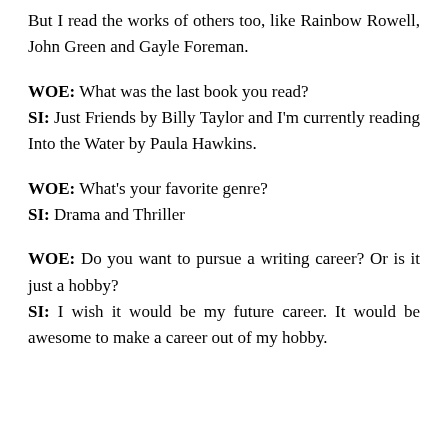But I read the works of others too, like Rainbow Rowell, John Green and Gayle Foreman.
WOE: What was the last book you read? SI: Just Friends by Billy Taylor and I'm currently reading Into the Water by Paula Hawkins.
WOE: What's your favorite genre? SI: Drama and Thriller
WOE: Do you want to pursue a writing career? Or is it just a hobby? SI: I wish it would be my future career. It would be awesome to make a career out of my hobby.